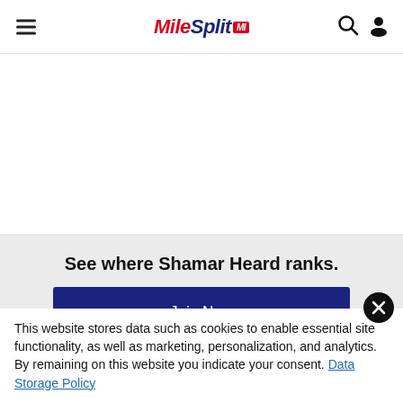MileSplit MI — navigation header with hamburger menu, search icon, and user icon
See where Shamar Heard ranks.
Join Now
Already a member? Log In
This website stores data such as cookies to enable essential site functionality, as well as marketing, personalization, and analytics. By remaining on this website you indicate your consent. Data Storage Policy